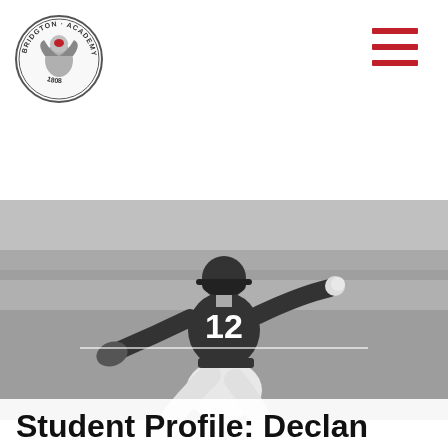[Figure (logo): Bridgton Academy circular seal logo with eagle, est. 1808]
[Figure (photo): Black and white photo of baseball pitcher wearing jersey number 12 in mid-throw stance on a baseball field]
Student Profile: Declan